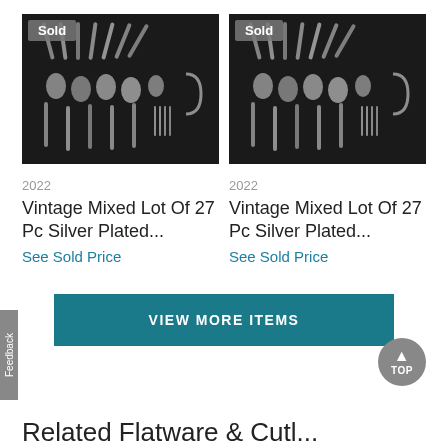[Figure (photo): Photo of vintage mixed lot of 27 pc silver plated cutlery/flatware arranged on dark background, with 'Sold' badge in top left corner]
[Figure (photo): Photo of vintage mixed lot of 27 pc silver plated cutlery/flatware arranged on dark background, with 'Sold' badge in top left corner]
2022
Vintage Mixed Lot Of 27 Pc Silver Plated...
See Sold Price
2022
Vintage Mixed Lot Of 27 Pc Silver Plated...
See Sold Price
VIEW MORE ITEMS
Related Flatware & Cutl...